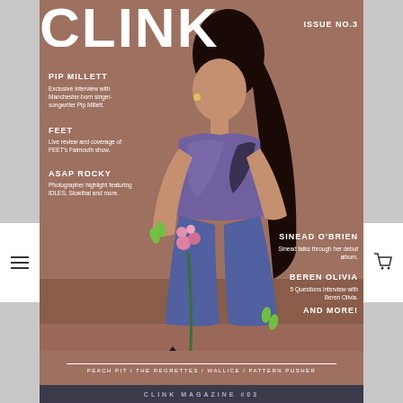[Figure (photo): Magazine cover of CLINK magazine Issue No. 3 featuring a young woman with long dark hair in a high ponytail, wearing a tie-dye top and jeans, crouching and holding pink flowers, on a mauve/brown background.]
CLINK MA
ISSUE NO.3
PIP MILLETT
Exclusive interview with Manchester-born singer-songwriter Pip Millett.
FEET
Live review and coverage of FEET's Falmouth show.
ASAP ROCKY
Photographer highlight featuring IDLES, Slowthai and more.
SINEAD O'BRIEN
Sinead talks through her debut album.
BEREN OLIVIA
5 Questions interview with Beren Olivia.
AND MORE!
PEACH PIT / THE REGRETTES / WALLICE / PATTERN PUSHER
CLINK MAGAZINE #03